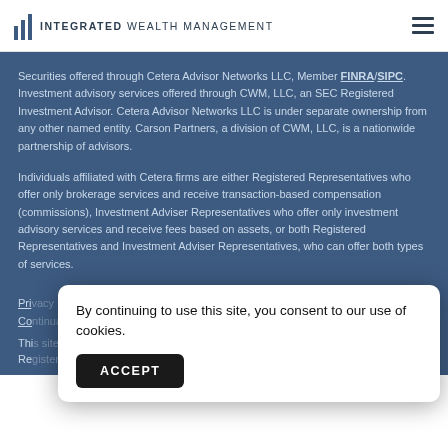INTEGRATED WEALTH MANAGEMENT
Securities offered through Cetera Advisor Networks LLC, Member FINRA/SIPC. Investment advisory services offered through CWM, LLC, an SEC Registered Investment Advisor. Cetera Advisor Networks LLC is under separate ownership from any other named entity. Carson Partners, a division of CWM, LLC, is a nationwide partnership of advisors.
Individuals affiliated with Cetera firms are either Registered Representatives who offer only brokerage services and receive transaction-based compensation (commissions), Investment Adviser Representatives who offer only investment advisory services and receive fees based on assets, or both Registered Representatives and Investment Adviser Representatives, who can offer both types of services.
By continuing to use this site, you consent to our use of cookies.
ACCEPT